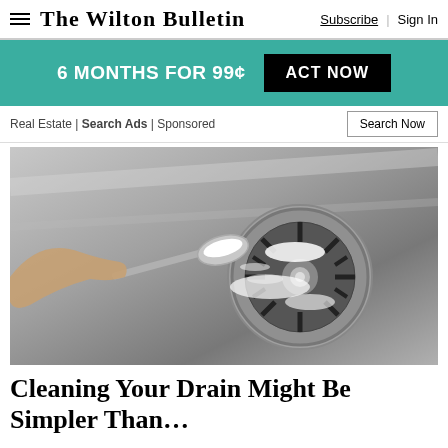The Wilton Bulletin — Subscribe | Sign In
6 MONTHS FOR 99¢  ACT NOW
Real Estate | Search Ads | Sponsored — Search Now
[Figure (photo): A hand holding a spoon with white powder being poured into a stainless steel sink drain]
Cleaning Your Drain Might Be Simpler Than…